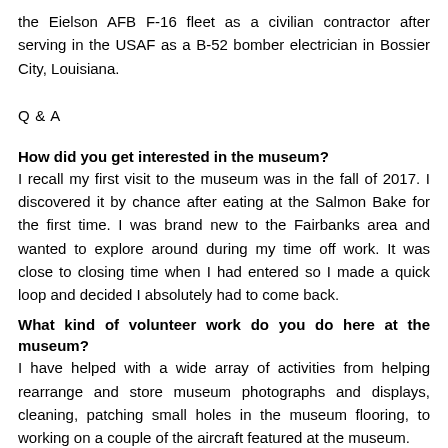the Eielson AFB F-16 fleet as a civilian contractor after serving in the USAF as a B-52 bomber electrician in Bossier City, Louisiana.
Q & A
How did you get interested in the museum?
I recall my first visit to the museum was in the fall of 2017. I discovered it by chance after eating at the Salmon Bake for the first time. I was brand new to the Fairbanks area and wanted to explore around during my time off work. It was close to closing time when I had entered so I made a quick loop and decided I absolutely had to come back.
What kind of volunteer work do you do here at the museum?
I have helped with a wide array of activities from helping rearrange and store museum photographs and displays, cleaning, patching small holes in the museum flooring, to working on a couple of the aircraft featured at the museum.
What kind of challenges has that work presented?
Working on the older aircraft has presented several challenges.